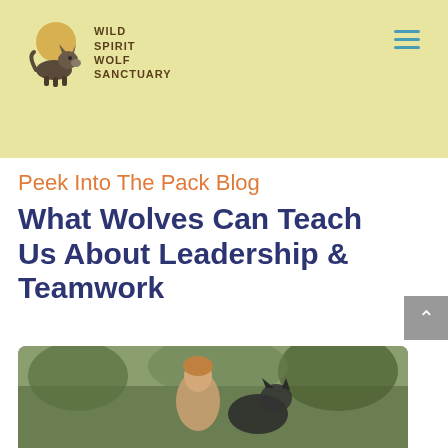[Figure (logo): Wild Spirit Wolf Sanctuary logo with wolf and moon illustration, with text WILD SPIRIT WOLF SANCTUARY]
Peek Into The Pack Blog
What Wolves Can Teach Us About Leadership & Teamwork
[Figure (photo): Photo of a person with a wolf outdoors in a natural setting]